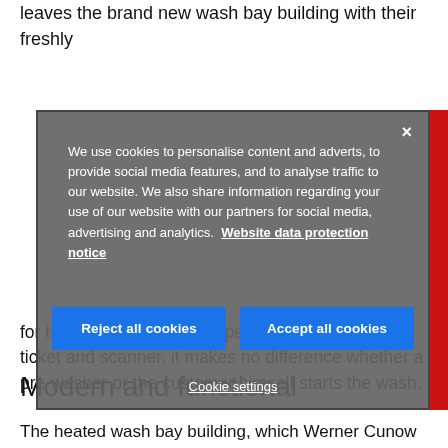leaves the brand new wash bay building with their freshly
[Figure (screenshot): Cookie consent modal overlay with dark grey background. Contains text about cookie usage, a close (×) button, two blue buttons ('Reject all cookies' and 'Accept all cookies'), and a 'Cookie settings' link. Text reads: 'We use cookies to personalise content and adverts, to provide social media features, and to analyse traffic to our website. We also share information regarding your use of our website with our partners for social media, advertising and analytics. Website data protection notice']
for the modern WashTec operating terminal with ticket and scanner, it makes no difference whether a pre-washer or the customer himself starts the wash.
Modern and functional
The heated wash bay building, which Werner Cunow had